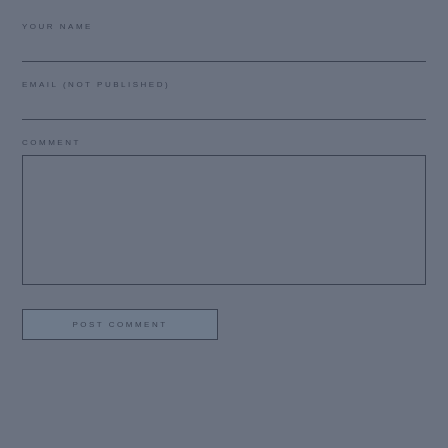YOUR NAME
EMAIL (NOT PUBLISHED)
COMMENT
[Figure (screenshot): Comment text area box (empty)]
POST COMMENT